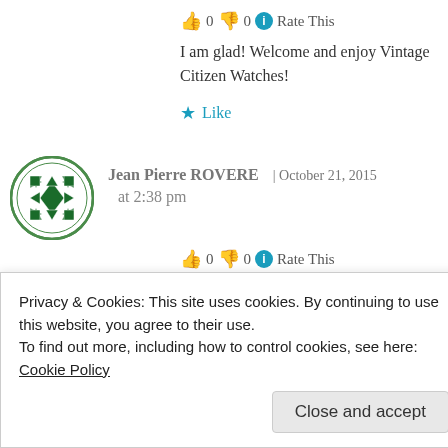👍 0 👎 0 ℹ Rate This
I am glad! Welcome and enjoy Vintage Citizen Watches!
★ Like
Jean Pierre ROVERE | October 21, 2015 at 2:38 pm
👍 0 👎 0 ℹ Rate This
I like also Tag watches I have three pieces but this isn't your favorite brand. Have a
Privacy & Cookies: This site uses cookies. By continuing to use this website, you agree to their use.
To find out more, including how to control cookies, see here: Cookie Policy
Close and accept